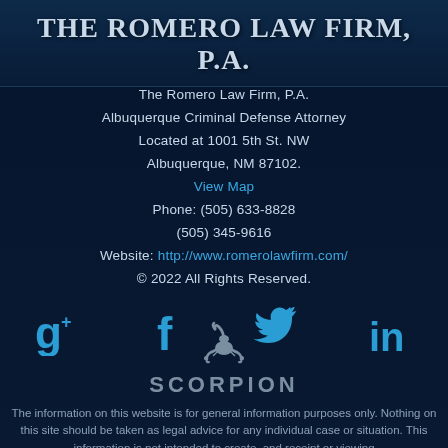THE ROMERO LAW FIRM, P.A.
The Romero Law Firm, P.A.
Albuquerque Criminal Defense Attorney
Located at 1001 5th St. NW
Albuquerque, NM 87102.
View Map
Phone: (505) 633-8828
(505) 345-9616
Website: http://www.romerolawfirm.com/
© 2022 All Rights Reserved.
[Figure (logo): Social media icons row: Google+, Facebook, Twitter, LinkedIn in blue]
[Figure (logo): Scorpion logo: stylized scorpion icon above SCORPION text in gray]
The information on this website is for general information purposes only. Nothing on this site should be taken as legal advice for any individual case or situation. This information is not intended to create, and receipt or viewing